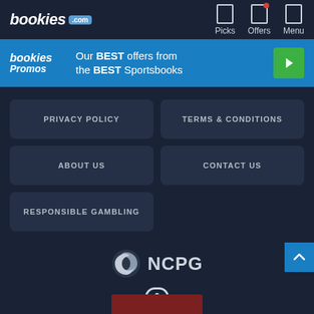bookies.com — Picks | Offers | Menu
[Figure (screenshot): Bookies Promos banner: Our BEST offers from the BEST Sportsbooks with green play button]
PRIVACY POLICY
TERMS & CONDITIONS
ABOUT US
CONTACT US
RESPONSIBLE GAMBLING
[Figure (logo): NCPG logo with swirl icon]
[Figure (other): Small icon/graphic below NCPG logo]